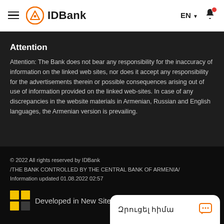IDBank — EN (language selector) — Bell notification
Attention
Attention: The Bank does not bear any responsibility for the inaccuracy of information on the linked web sites, nor does it accept any responsibility for the advertisements therein or possible consequences arising out of use of information provided on the linked web-sites. In case of any discrepancies in the website materials in Armenian, Russian and English languages, the Armenian version is prevailing.
© 2022 All rights reserved by IDBank
/THE BANK CONTROLLED BY THE CENTRAL BANK OF ARMENIA/
Information updated 01.08.2022 02:57
[Figure (logo): Developed in New Site logo badge with yellow squares icon]
Developed in New Site
Զրուցել հիմա